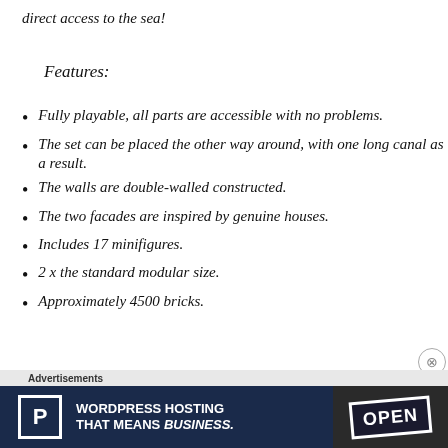direct access to the sea!
Features:
Fully playable, all parts are accessible with no problems.
The set can be placed the other way around, with one long canal as a result.
The walls are double-walled constructed.
The two facades are inspired by genuine houses.
Includes 17 minifigures.
2 x the standard modular size.
Approximately 4500 bricks.
[Figure (screenshot): Advertisement banner for WordPress Hosting with 'OPEN' sign image on the right]